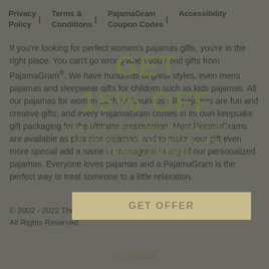Privacy Policy | Terms & Conditions | PajamaGram Coupon Codes | Accessibility
If you're looking for perfect women's pajamas gifts, you're in the right place. You can't go wrong when you send gifts from PajamaGram®. We have hundreds of great styles, even mens pajamas and sleepwear gifts for children such as kids pajamas. All our pajamas for women such as luxurious silk pajamas are fun and creative gifts, and every PajamaGram comes in its own keepsake gift packaging for the ultimate presentation. Most PajamaGrams are available as plus size pajamas, and to make your gift even more special add a name or monogram to any of our personalized pajamas. Everyone loves pajamas and a PajamaGram is the perfect way to treat someone to a little relaxation.
© 2002 - 2022 The Vermont Teddy Bear Company d/b/a Pajamagram. All Rights Reserved
[Figure (other): Popup overlay showing GET 15% OFF promo with a beige GET OFFER button and No, thanks link]
No, thanks